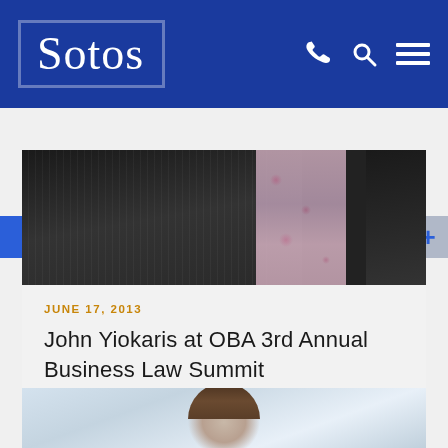[Figure (logo): Sotos law firm logo — white serif text 'Sotos' on dark blue background]
SOTOS NEWS
[Figure (photo): Cropped photo showing a dark pinstripe suit jacket with a floral/patterned tie, partial view of a person]
JUNE 17, 2013
John Yiokaris at OBA 3rd Annual Business Law Summit
[Figure (photo): Partial photo of a person's face and head with brown hair, light blue/grey background, appears to be a professional headshot]